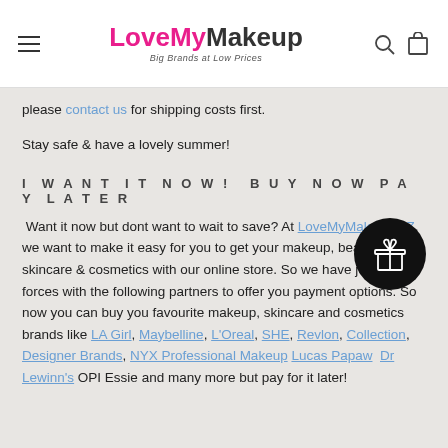LoveMyMakeup — Big Brands at Low Prices
please contact us for shipping costs first.
Stay safe & have a lovely summer!
I WANT IT NOW! BUY NOW PAY LATER
Want it now but dont want to wait to save? At LoveMyMakeup NZ, we want to make it easy for you to get your makeup, beauty supply, skincare & cosmetics with our online store. So we have joined forces with the following partners to offer you payment options. So now you can buy you favourite makeup, skincare and cosmetics brands like LA Girl, Maybelline, L'Oreal, SHE, Revlon, Collection, Designer Brands, NYX Professional Makeup Lucas Papaw Dr Lewinn's OPI Essie and many more but pay for it later!